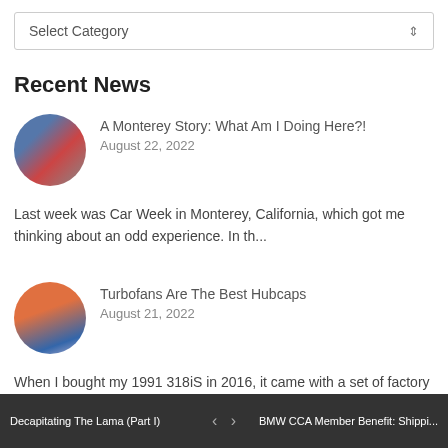Select Category
Recent News
A Monterey Story: What Am I Doing Here?!
August 22, 2022
Last week was Car Week in Monterey, California, which got me thinking about an odd experience. In th...
Turbofans Are The Best Hubcaps
August 21, 2022
When I bought my 1991 318iS in 2016, it came with a set of factory fourteen-inch BBS basketweave whe...
Man (And M3) Versus The Mountain
August 21, 2022
Conquering Pikes Peak has become a bit of an obsession for James Clay. What started as a first run u...
Decapitating The Lama (Part I)  ‹  ›  BMW CCA Member Benefit: Shippi...